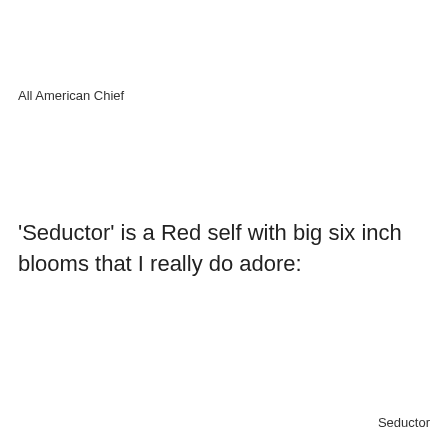All American Chief
'Seductor' is a Red self with big six inch blooms that I really do adore:
Seductor